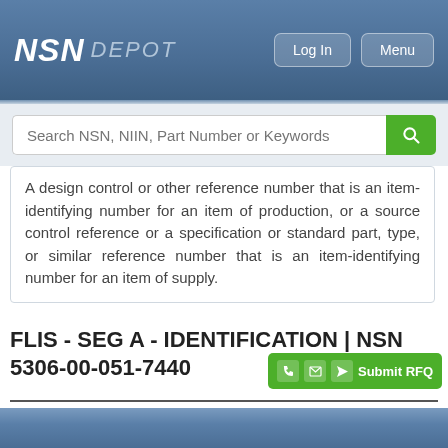NSN DEPOT
A design control or other reference number that is an item-identifying number for an item of production, or a source control reference or a specification or standard part, type, or similar reference number that is an item-identifying number for an item of supply.
FLIS - SEG A - IDENTIFICATION | NSN 5306-00-051-7440